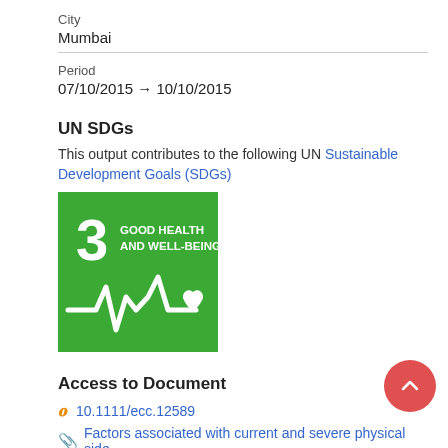City
Mumbai
Period
07/10/2015 → 10/10/2015
UN SDGs
This output contributes to the following UN Sustainable Development Goals (SDGs)
[Figure (logo): UN SDG 3 badge: Good Health and Well-Being, green square with white heartbeat/pulse line and heart icon]
Access to Document
10.1111/ecc.12589
Factors associated with current and severe physical side-